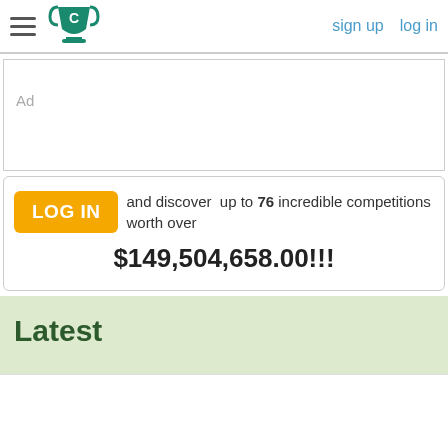sign up  log in
[Figure (logo): Green trophy cup logo with letter C, hamburger menu icon on the left]
Ad
LOG IN and discover  up to 76 incredible competitions worth over $149,504,658.00!!!
Latest